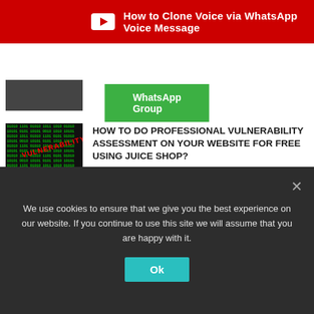[Figure (screenshot): Red YouTube banner with YouTube icon and text 'How to Clone Voice via WhatsApp Voice Message']
[Figure (screenshot): Green WhatsApp Group button]
[Figure (screenshot): Partial thumbnail of an article at top]
[Figure (screenshot): Binary code background with red VULNERABILITY text thumbnail]
HOW TO DO PROFESSIONAL VULNERABILITY ASSESSMENT ON YOUR WEBSITE FOR FREE USING JUICE SHOP?
[Figure (screenshot): Keyboard with green hacking aesthetic thumbnail]
HOW TO DO LOCAL PRIVILEGE ESCALATION ATTACKS ON WINDOWS TO BRUTE FORCE THE LOCAL ADMINISTRATOR ACCOUNT?
[Figure (screenshot): Faces deepfake thumbnail]
HOW TO EASILY CREATE DEEPFAKE VIDEOS OF YOUR FAMILY?
We use cookies to ensure that we give you the best experience on our website. If you continue to use this site we will assume that you are happy with it.